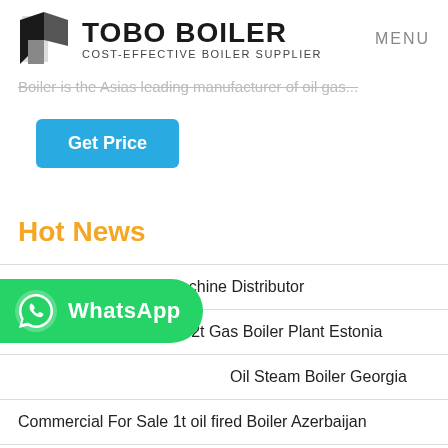TOBO BOILER COST-EFFECTIVE BOILER SUPPLIER | MENU
Boiler is the Asias leading manufacturer of oil gas...
[Figure (other): Get Price button (blue rounded rectangle)]
Hot News
Industrial Gas Boiler Machine Distributor
High Efficiency Supplier 2t Gas Boiler Plant Estonia
Oil Steam Boiler Georgia
Commercial For Sale 1t oil fired Boiler Azerbaijan
[Figure (other): WhatsApp chat button overlay (green rounded button with WhatsApp logo and text)]